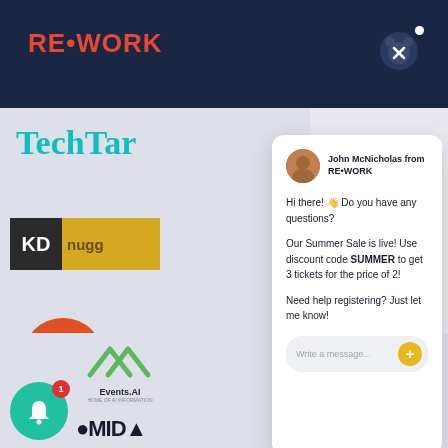[Figure (screenshot): RE•WORK website screenshot with a live chat popup from John McNicholas offering Summer Sale discount code SUMMER for 3 tickets for the price of 2. Background shows partner logos including TechTarget, KD Nuggets, F65, Events.AI, Talking Machines. Bottom has notification bell, yellow chat widget button, and partial logos OMDIA and IDC.]
John McNicholas from RE•WORK

Hi there! 👋 Do you have any questions?

Our Summer Sale is live! Use discount code SUMMER to get 3 tickets for the price of 2!

Need help registering? Just let me know!
Write a message...